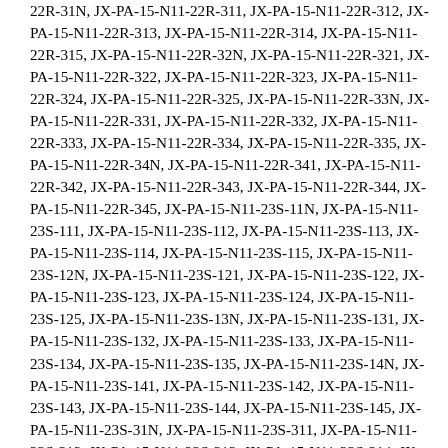22R-31N, JX-PA-15-N11-22R-311, JX-PA-15-N11-22R-312, JX-PA-15-N11-22R-313, JX-PA-15-N11-22R-314, JX-PA-15-N11-22R-315, JX-PA-15-N11-22R-32N, JX-PA-15-N11-22R-321, JX-PA-15-N11-22R-322, JX-PA-15-N11-22R-323, JX-PA-15-N11-22R-324, JX-PA-15-N11-22R-325, JX-PA-15-N11-22R-33N, JX-PA-15-N11-22R-331, JX-PA-15-N11-22R-332, JX-PA-15-N11-22R-333, JX-PA-15-N11-22R-334, JX-PA-15-N11-22R-335, JX-PA-15-N11-22R-34N, JX-PA-15-N11-22R-341, JX-PA-15-N11-22R-342, JX-PA-15-N11-22R-343, JX-PA-15-N11-22R-344, JX-PA-15-N11-22R-345, JX-PA-15-N11-23S-11N, JX-PA-15-N11-23S-111, JX-PA-15-N11-23S-112, JX-PA-15-N11-23S-113, JX-PA-15-N11-23S-114, JX-PA-15-N11-23S-115, JX-PA-15-N11-23S-12N, JX-PA-15-N11-23S-121, JX-PA-15-N11-23S-122, JX-PA-15-N11-23S-123, JX-PA-15-N11-23S-124, JX-PA-15-N11-23S-125, JX-PA-15-N11-23S-13N, JX-PA-15-N11-23S-131, JX-PA-15-N11-23S-132, JX-PA-15-N11-23S-133, JX-PA-15-N11-23S-134, JX-PA-15-N11-23S-135, JX-PA-15-N11-23S-14N, JX-PA-15-N11-23S-141, JX-PA-15-N11-23S-142, JX-PA-15-N11-23S-143, JX-PA-15-N11-23S-144, JX-PA-15-N11-23S-145, JX-PA-15-N11-23S-31N, JX-PA-15-N11-23S-311, JX-PA-15-N11-23S-312, JX-PA-15-N11-23S-313, JX-PA-15-N11-23S-314, JX-PA-15-N11-23S-315, JX-PA-15-N11-23S-32N, JX-PA-15-N11-23S-321, JX-PA-15-N11-23S-322, JX-PA-15-N11-23S-323, JX-PA-15-N11-23S-324, JX-PA-15-N11-23S-325, JX-PA-15-N11-23S-33N, JX-PA-15-N11-